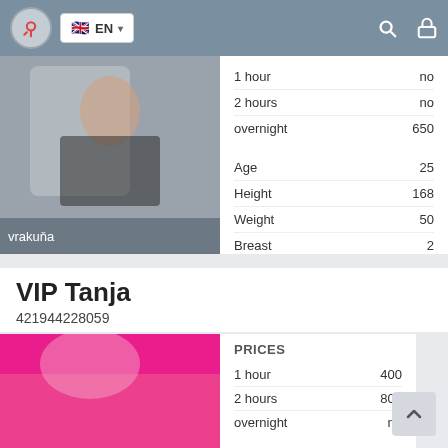EN
|  |  |
| --- | --- |
| 1 hour | no |
| 2 hours | no |
| overnight | 650 |
| Age | 25 |
| Height | 168 |
| Weight | 50 |
| Breast | 2 |
vrakuňa
VIP Tanja
421944228059
| PRICES |  |
| --- | --- |
| 1 hour | 400 |
| 2 hours | 800 |
| overnight | no |